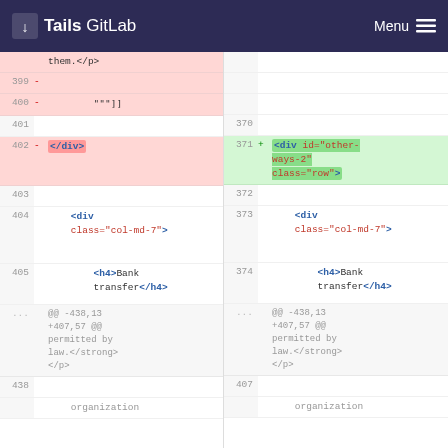Tails GitLab  Menu
| line-old | sign | code-old | line-new | sign | code-new |
| --- | --- | --- | --- | --- | --- |
|  |  | them.</p> |  |  |  |
| 399 | - |  |  |  |  |
| 400 | - | """]] |  |  |  |
| 401 |  |  | 370 |  |  |
| 402 | - | </div> | 371 | + | <div id="other-ways-2" class="row"> |
| 403 |  |  | 372 |  |  |
| 404 |  | <div class="col-md-7"> | 373 |  | <div class="col-md-7"> |
| 405 |  | <h4>Bank transfer</h4> | 374 |  | <h4>Bank transfer</h4> |
| ... |  | @@ -438,13 +407,57 @@ permitted by law.</strong></p> | ... |  | @@ -438,13 +407,57 @@ permitted by law.</strong></p> |
| 438 |  |  | 407 |  |  |
|  |  | organization |  |  | organization |